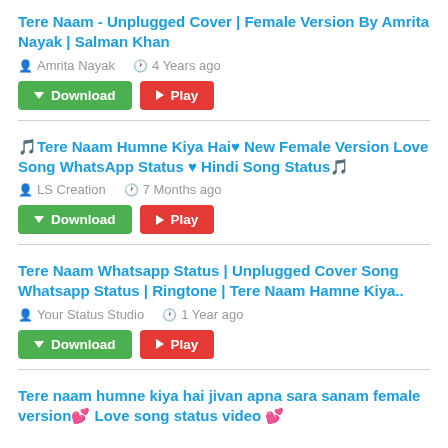Tere Naam - Unplugged Cover | Female Version By Amrita Nayak | Salman Khan
Amrita Nayak   4 Years ago
Download  Play
🎵Tere Naam Humne Kiya Hai♥ New Female Version Love Song WhatsApp Status ♥ Hindi Song Status🎵
LS Creation   7 Months ago
Download  Play
Tere Naam Whatsapp Status | Unplugged Cover Song Whatsapp Status | Ringtone | Tere Naam Hamne Kiya..
Your Status Studio   1 Year ago
Download  Play
Tere naam humne kiya hai jivan apna sara sanam female version💕 Love song status video 💕